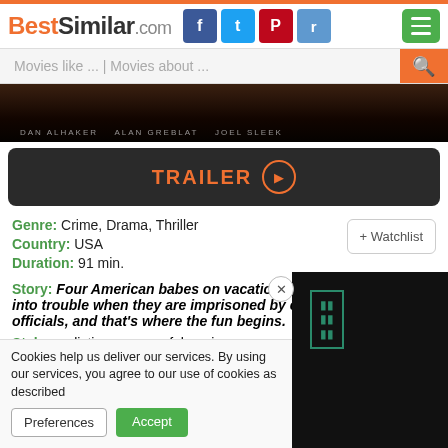BestSimilar.com
Movies like ... | Movies about ...
[Figure (photo): Dark movie poster strip showing film credits text]
TRAILER ►
Genre: Crime, Drama, Thriller
Country: USA
Duration: 91 min.
+ Watchlist
Story: Four American babes on vacation in the Middle East run into trouble when they are imprisoned by corrupt army officials, and that's where the fun begins.
Style: realistic, suspenseful, serious
Cookies help us deliver our services. By using our services, you agree to our use of cookies as described in our Cookie Policy.
Preferences | Accept